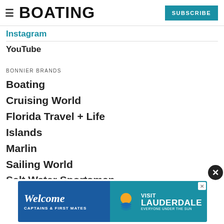BOATING | SUBSCRIBE
Instagram
YouTube
BONNIER BRANDS
Boating
Cruising World
Florida Travel + Life
Islands
Marlin
Sailing World
Salt Water Sportsman
Sport...
Wakeboarding
[Figure (other): Welcome Captains & First Mates advertisement banner for Visit Lauderdale with teal and blue background, sun/water logo, and close button]